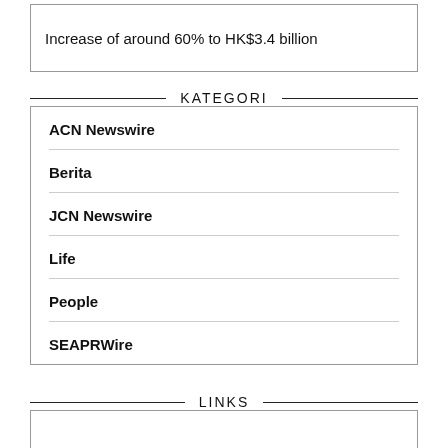Increase of around 60% to HK$3.4 billion
KATEGORI
ACN Newswire
Berita
JCN Newswire
Life
People
SEAPRWire
LINKS